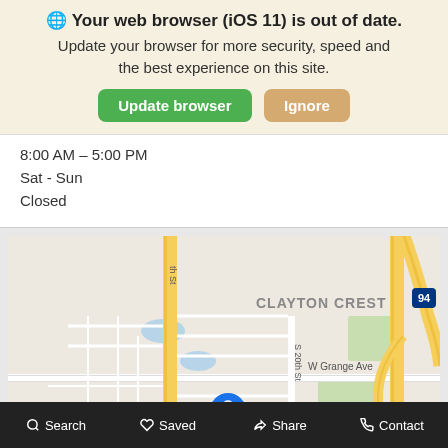🌐 Your web browser (iOS 11) is out of date. Update your browser for more security, speed and the best experience on this site.
Update browser | Ignore
8:00 AM – 5:00 PM
Sat - Sun
Closed
[Figure (map): Google Maps screenshot showing Clayton Crest neighborhood with Don Jacobs Toyota pin, W Grange Ave, S 20th St, GRA-RAM area, and Interstate 94.]
Search  Saved  Share  Contact